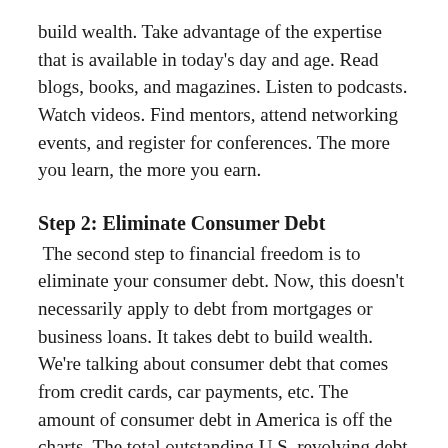build wealth. Take advantage of the expertise that is available in today's day and age. Read blogs, books, and magazines. Listen to podcasts. Watch videos. Find mentors, attend networking events, and register for conferences. The more you learn, the more you earn.
Step 2: Eliminate Consumer Debt
The second step to financial freedom is to eliminate your consumer debt. Now, this doesn't necessarily apply to debt from mortgages or business loans. It takes debt to build wealth. We're talking about consumer debt that comes from credit cards, car payments, etc. The amount of consumer debt in America is off the charts. The total outstanding U.S. revolving debt in 2021 was $996 billion (not including mortgage debt.) Our debt is equal to the gross domestic product